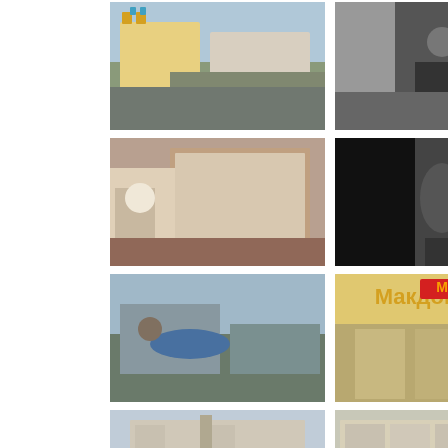[Figure (photo): Street view with colorful church and classical buildings in Saint Petersburg]
[Figure (photo): Urban street scene with pedestrians and storefronts]
[Figure (photo): Colorful outdoor event or festival scene]
[Figure (photo): Person near storefront window display]
[Figure (photo): Dark corridor or archway interior]
[Figure (photo): Street scene with service vehicle and workers]
[Figure (photo): Person near river or canal with boats]
[Figure (photo): McDonald's restaurant exterior with Cyrillic signage]
[Figure (photo): Wide city street with classical buildings]
[Figure (photo): Classical building facade with column]
[Figure (photo): Row of classical multi-story buildings on a street]
[Figure (photo): Reflective glass or window with distorted scene]
[Figure (photo): Bronze monument or statue among trees]
[Figure (photo): Lenin statue in front of blue building]
[Figure (photo): Concert hall interior with orchestra and blue lighting]
[Figure (photo): Red outdoor event tent with Coca-Cola branding]
[Figure (photo): Park or garden with statues and green lawn]
[Figure (photo): Peterhof fountains and golden statues]
[Figure (photo): Tall spire or column against sky]
[Figure (photo): Fountain or monument in park setting]
[Figure (photo): Park with trees and pathway]